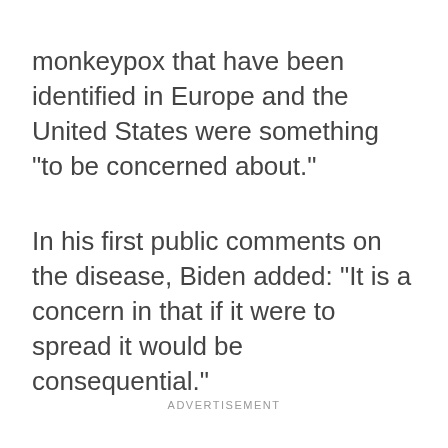monkeypox that have been identified in Europe and the United States were something "to be concerned about."
In his first public comments on the disease, Biden added: "It is a concern in that if it were to spread it would be consequential."
ADVERTISEMENT